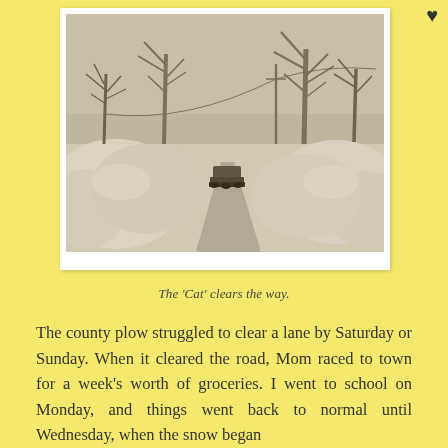[Figure (photo): Vintage sepia-toned photograph showing a narrow lane or road cleared through deep snow drifts by a Caterpillar bulldozer. Bare winter trees line the background under a pale sky. Snow is piled high on both sides of the cleared path.]
The 'Cat' clears the way.
The county plow struggled to clear a lane by Saturday or Sunday. When it cleared the road, Mom raced to town for a week's worth of groceries. I went to school on Monday, and things went back to normal until Wednesday, when the snow began